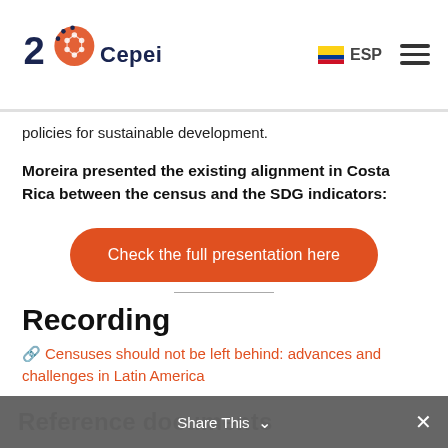[Figure (logo): Cepei 20th anniversary logo with orange brain network graphic and text 'Cepei']
ESP (with Colombian flag icon) and hamburger menu
policies for sustainable development.
Moreira presented the existing alignment in Costa Rica between the census and the SDG indicators:
[Figure (other): Orange rounded rectangle button with text 'Check the full presentation here']
Recording
🔗 Censuses should not be left behind: advances and challenges in Latin America
Reference documents
Share This